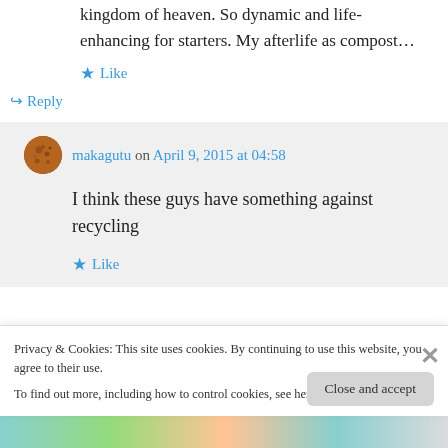kingdom of heaven. So dynamic and life-enhancing for starters. My afterlife as compost…
★ Like
↪ Reply
makagutu on April 9, 2015 at 04:58
I think these guys have something against recycling
★ Like
Privacy & Cookies: This site uses cookies. By continuing to use this website, you agree to their use.
To find out more, including how to control cookies, see here: Cookie Policy
Close and accept